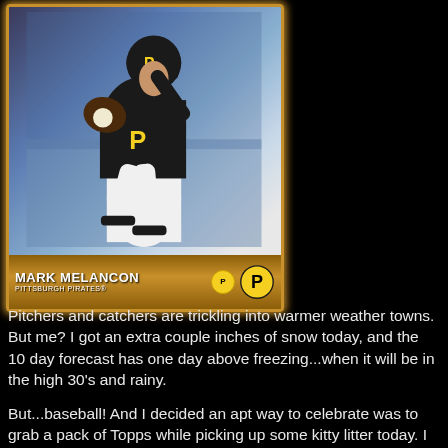[Figure (photo): Pittsburgh Pirates baseball trading card featuring Mark Melancon in a black Pittsburgh Pirates uniform mid-pitch. Card has gold/orange border and flame texture. Bottom shows player name 'MARK MELANCON', team 'PITTSBURGH PIRATES', a yellow circle with 'P' position badge, and Pittsburgh Pirates logo.]
Pitchers and catchers are trickling into warmer weather towns.  But me?  I got an extra couple inches of snow today, and the 10 day forecast has one day above freezing...when it will be in the high 30's and rainy.

But...baseball!  And I decided an apt way to celebrate was to grab a pack of Topps while picking up some kitty litter today.  I already have my Pirates coming in from a group break, but I've been fighting the temptation to crack a pack or two since release day.  In fact, the only thing that stopped me was